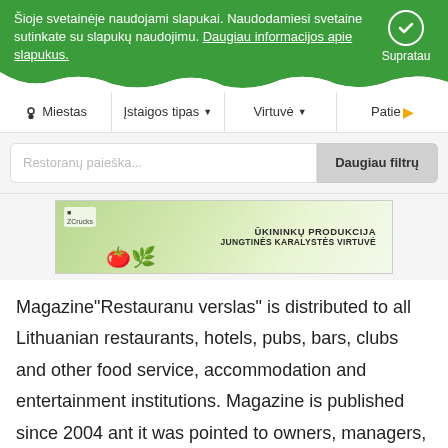Šioje svetainėje naudojami slapukai. Naudodamiesi svetaine sutinkate su slapukų naudojimu. Daugiau informacijos apie slapukus. Supratau
Miestas | Įstaigos tipas | Virtuvė | Patie
Restoranų paieška... Daugiau filtrų
[Figure (photo): Banner image showing farm produce with text: ŪKININKŲ PRODUKCIJA JUNGTINĖS KARALYSTĖS VIRTUVĖ]
Magazine"Restauranu verslas" is distributed to all Lithuanian restaurants, hotels, pubs, bars, clubs and other food service, accommodation and entertainment institutions. Magazine is published since 2004 ant it was pointed to owners, managers, workers and other professionals in

HoReCa (Hotels, Restaurants, Catering) sector. Since